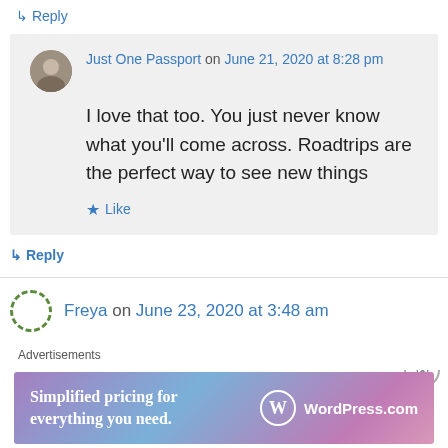↳ Reply
Just One Passport on June 21, 2020 at 8:28 pm
I love that too. You just never know what you'll come across. Roadtrips are the perfect way to see new things
★ Like
↳ Reply
Freya on June 23, 2020 at 3:48 am
Advertisements
[Figure (other): WordPress.com advertisement banner: 'Simplified pricing for everything you need.' with WordPress.com logo on a purple-pink-blue gradient background]